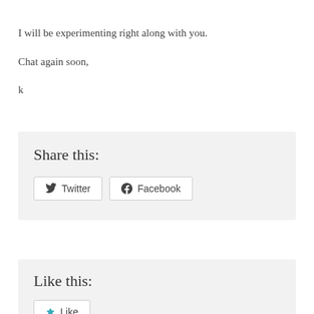I will be experimenting right along with you.
Chat again soon,
k
Share this:
[Figure (other): Social sharing buttons: Twitter and Facebook]
Like this:
[Figure (other): Like button with star icon]